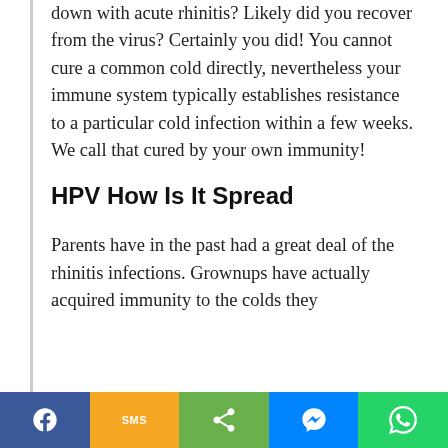down with acute rhinitis? Likely did you recover from the virus? Certainly you did! You cannot cure a common cold directly, nevertheless your immune system typically establishes resistance to a particular cold infection within a few weeks. We call that cured by your own immunity!
HPV How Is It Spread
Parents have in the past had a great deal of the rhinitis infections. Grownups have actually acquired immunity to the colds they